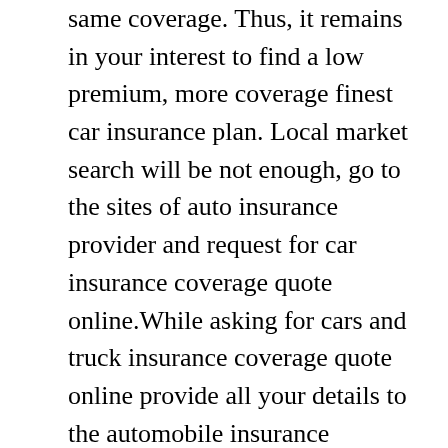same coverage. Thus, it remains in your interest to find a low premium, more coverage finest car insurance plan. Local market search will be not enough, go to the sites of auto insurance provider and request for car insurance coverage quote online.While asking for cars and truck insurance coverage quote online provide all your details to the automobile insurance provider such as your name, age, postal code, address, your marital status, cars and truck's annual travelling miles and safety features of your vehicle because as default they will definitely offer you high vehicle insurance quote online.Your credit report matters a lot for vehicle insurance companies.